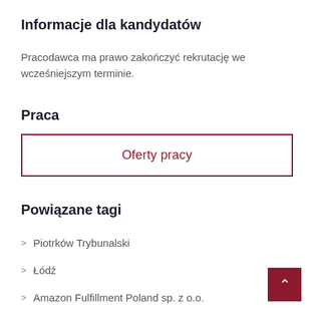Informacje dla kandydatów
Pracodawca ma prawo zakończyć rekrutację we wcześniejszym terminie.
Praca
Oferty pracy
Powiązane tagi
Piotrków Trybunalski
Łódź
Amazon Fulfillment Poland sp. z o.o.